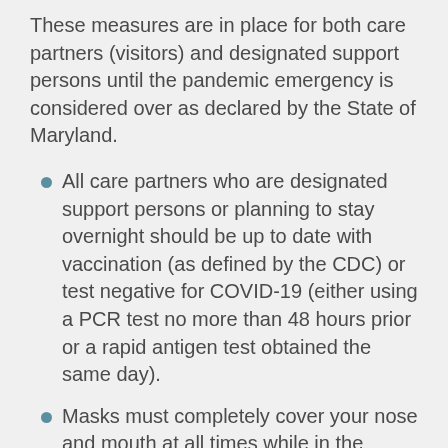These measures are in place for both care partners (visitors) and designated support persons until the pandemic emergency is considered over as declared by the State of Maryland.
All care partners who are designated support persons or planning to stay overnight should be up to date with vaccination (as defined by the CDC) or test negative for COVID-19 (either using a PCR test no more than 48 hours prior or a rapid antigen test obtained the same day).
Masks must completely cover your nose and mouth at all times while in the hospital. Care partners may wear cloth masks (without exhalation valves). Neck gaiter-style masks are not permitted. If